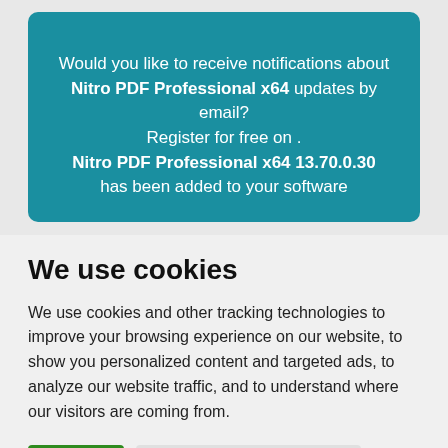[Figure (screenshot): Teal notification box with white text about Nitro PDF Professional x64 update notifications and registration]
We use cookies
We use cookies and other tracking technologies to improve your browsing experience on our website, to show you personalized content and targeted ads, to analyze our website traffic, and to understand where our visitors are coming from.